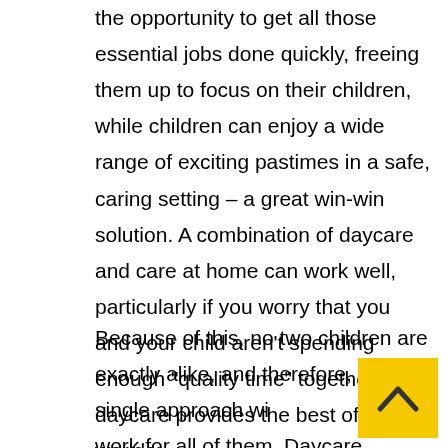the opportunity to get all those essential jobs done quickly, freeing them up to focus on their children, while children can enjoy a wide range of exciting pastimes in a safe, caring setting – a great win-win solution. A combination of daycare and care at home can work well, particularly if you worry that you and your child aren't spending enough "quality time" together. daycare provides the best of both worlds:
Because of this, no two children are exactly alike, and therefore, no single approach will work for all of them. Daycare provides numerous important benefits to the parent as well as the